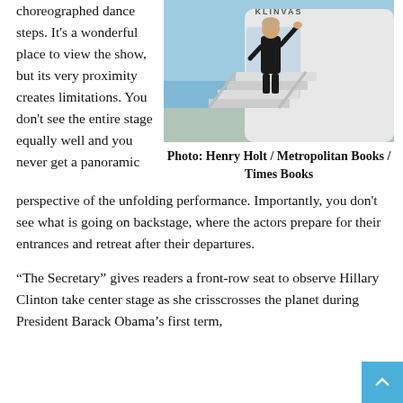choreographed dance steps. It's a wonderful place to view the show, but its very proximity creates limitations. You don't see the entire stage equally well and you never get a panoramic perspective of the unfolding performance. Importantly, you don't see what is going on backstage, where the actors prepare for their entrances and retreat after their departures.
[Figure (photo): Photo of a woman in black clothing waving from the top of an airplane staircase, with a light blue sky background. Book cover image.]
Photo: Henry Holt / Metropolitan Books / Times Books
“The Secretary” gives readers a front-row seat to observe Hillary Clinton take center stage as she crisscrosses the planet during President Barack Obama’s first term,